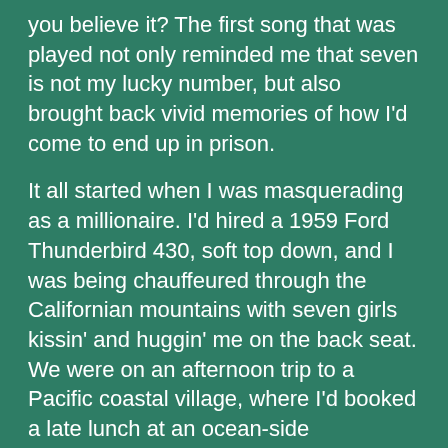you believe it? The first song that was played not only reminded me that seven is not my lucky number, but also brought back vivid memories of how I'd come to end up in prison.
It all started when I was masquerading as a millionaire. I'd hired a 1959 Ford Thunderbird 430, soft top down, and I was being chauffeured through the Californian mountains with seven girls kissin' and huggin' me on the back seat.
We were on an afternoon trip to a Pacific coastal village, where I'd booked a late lunch at an ocean-side restaurant.
We arrived at about 3pm. The chauffeur dropped us off, parked the car on the shaded side of the restaurant, lay down on the back seat, and started his afternoon nap. The girls and I were ushered to an outside table overlooking the bay.
I ordered aperitifs and the hubbub of happy chatter soon